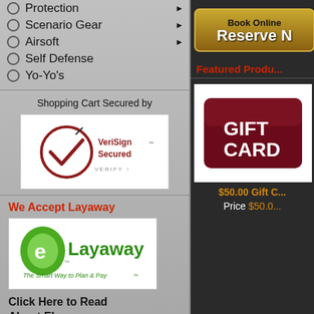Protection ▶
Scenario Gear ▶
Airsoft ▶
Self Defense
Yo-Yo's
Shopping Cart Secured by
[Figure (logo): VeriSign Secured logo with checkmark in dark red circle]
We Accept Layaway
[Figure (logo): eLayaway logo - green oval with e, tagline The Smart Way to Plan & Pay]
Click Here to Read About ELayaway
[Figure (illustration): Book Online Reserve Now button - gold/brown rounded rectangle]
Featured Products
[Figure (photo): Gift Card product image - dark red/maroon card with GIFT CARD text]
$50.00 Gift C...
Price $50.00